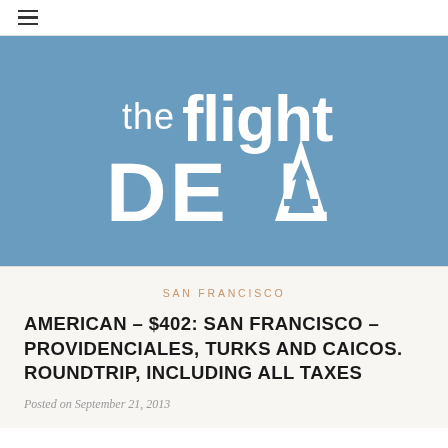☰
[Figure (logo): The Flight Deal logo — white stylized text reading 'the flight DEAL' with an airplane silhouette integrated into the 'A' of DEAL, on a steel blue background]
SAN FRANCISCO
AMERICAN – $402: SAN FRANCISCO – PROVIDENCIALES, TURKS AND CAICOS. ROUNDTRIP, INCLUDING ALL TAXES
Posted on September 21, 2013